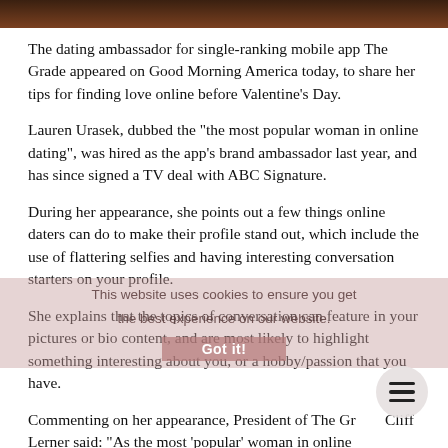[Figure (photo): Dark image strip at top of page, appears to be a partially visible photo with dark warm tones]
The dating ambassador for single-ranking mobile app The Grade appeared on Good Morning America today, to share her tips for finding love online before Valentine’s Day.
Lauren Urasek, dubbed the “the most popular woman in online dating”, was hired as the app’s brand ambassador last year, and has since signed a TV deal with ABC Signature.
During her appearance, she points out a few things online daters can do to make their profile stand out, which include the use of flattering selfies and having interesting conversation starters on your profile.
She explains that the topics of conversation can feature in your pictures or bio content, and are most likely to highlight something interesting about you, or a hobby/passion that you have.
Commenting on her appearance, President of The Gr… Cliff Lerner said: “As the most ‘popular’ woman in online